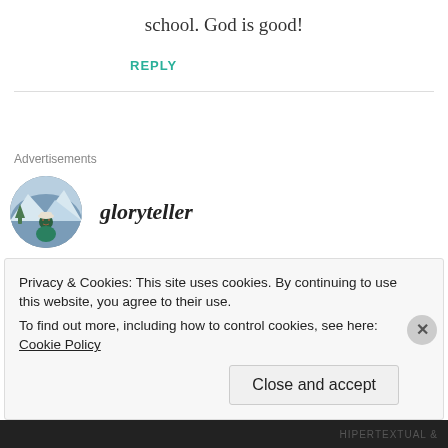school. God is good!
REPLY
Advertisements
gloryteller
MAY 30, 2011 AT 9:06 AM
Privacy & Cookies: This site uses cookies. By continuing to use this website, you agree to their use. To find out more, including how to control cookies, see here: Cookie Policy
Close and accept